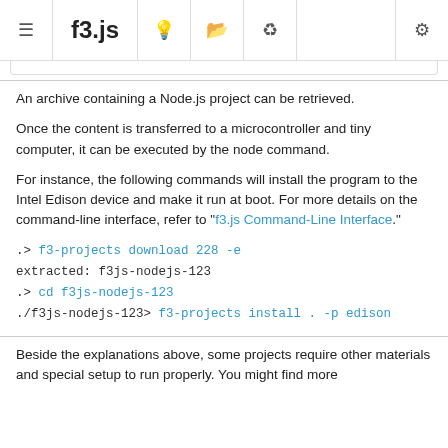f3.js
An archive containing a Node.js project can be retrieved.
Once the content is transferred to a microcontroller and tiny computer, it can be executed by the node command.
For instance, the following commands will install the program to the Intel Edison device and make it run at boot. For more details on the command-line interface, refer to "f3.js Command-Line Interface."
.> f3-projects download 228 -e
extracted: f3js-nodejs-123
.> cd f3js-nodejs-123
./f3js-nodejs-123> f3-projects install . -p edison
Beside the explanations above, some projects require other materials and special setup to run properly. You might find more